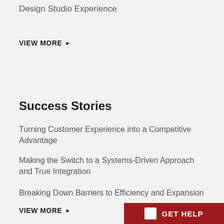Design Studio Experience
VIEW MORE ▶
Success Stories
Turning Customer Experience into a Competitive Advantage
Making the Switch to a Systems-Driven Approach and True Integration
Breaking Down Barriers to Efficiency and Expansion
VIEW MORE ▶
GET HELP